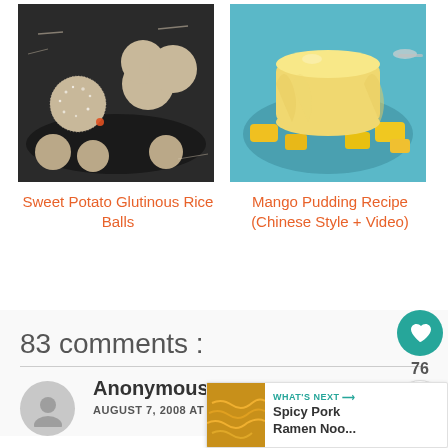[Figure (photo): Sweet potato glutinous rice balls - round white coconut-coated balls on a dark plate]
[Figure (photo): Mango pudding - yellow pudding mold surrounded by mango chunks on a blue plate]
Sweet Potato Glutinous Rice Balls
Mango Pudding Recipe (Chinese Style + Video)
83 comments :
Anonymous
AUGUST 7, 2008 AT 1:30 PM
WHAT'S NEXT → Spicy Pork Ramen Noo...